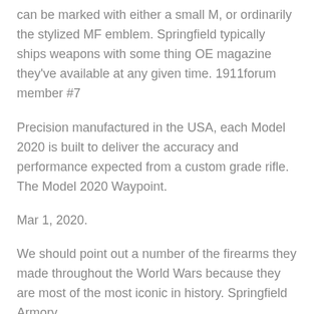can be marked with either a small M, or ordinarily the stylized MF emblem. Springfield typically ships weapons with some thing OE magazine they've available at any given time. 1911forum member #7
Precision manufactured in the USA, each Model 2020 is built to deliver the accuracy and performance expected from a custom grade rifle. The Model 2020 Waypoint.
Mar 1, 2020.
We should point out a number of the firearms they made throughout the World Wars because they are most of the most iconic in history. Springfield Armory.